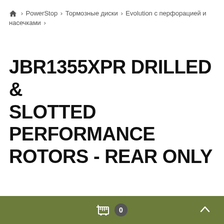🏠 > PowerStop > Тормозные диски > Evolution с перфорацией и насечками >
JBR1355XPR DRILLED & SLOTTED PERFORMANCE ROTORS - REAR ONLY
🛒 0 ∧